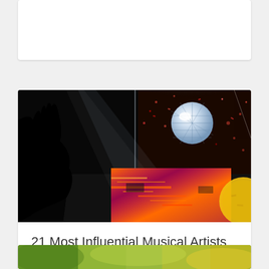[Figure (photo): Partial top of a card, cut off at top of page — white card on grey background]
[Figure (photo): Concert scene: silhouette of a hand raised against a bright disco ball lit from above with confetti falling, large LED screen in background showing orange/fiery visuals, yellow circular element at right edge]
21 Most Influential Musical Artists of The 21st Century
[Figure (photo): Partial bottom card, showing top of an outdoor/nature scene with green and yellow tones, cut off at bottom of page]